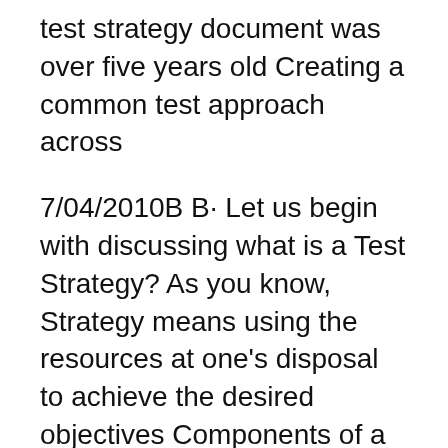test strategy document was over five years old Creating a common test approach across
7/04/2010B B· Let us begin with discussing what is a Test Strategy? As you know, Strategy means using the resources at one's disposal to achieve the desired objectives Components of a Test Strategy. the same as a Test Plan, which is a document that collects and organizes test cases the course of creating the strategy.
Creating a software test plan for QA teams can further support internal collaboration by implementing test management software to share critical